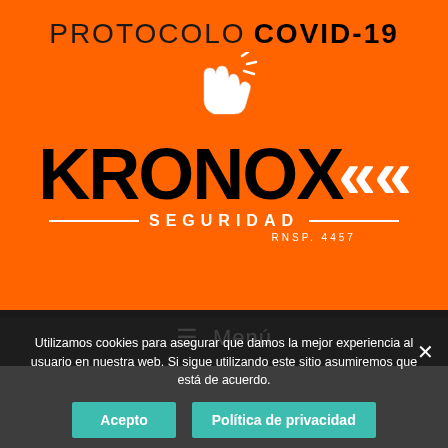[Figure (logo): Kronox Seguridad company logo on orange background with COVID-19 protocol text and hand pointer icon]
≡  Menú
Utilizamos cookies para asegurar que damos la mejor experiencia al usuario en nuestra web. Si sigue utilizando este sitio asumiremos que está de acuerdo.
Sora – Th... Astil Manu... s
Acepto    Política de privacidad